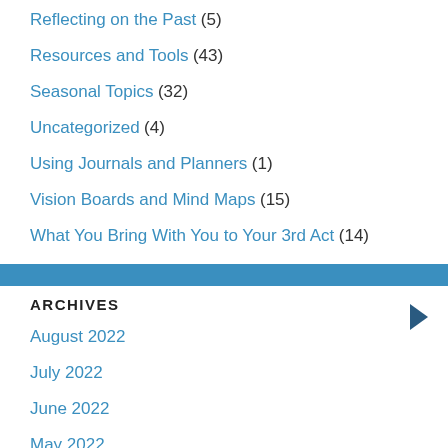Reflecting on the Past (5)
Resources and Tools (43)
Seasonal Topics (32)
Uncategorized (4)
Using Journals and Planners (1)
Vision Boards and Mind Maps (15)
What You Bring With You to Your 3rd Act (14)
ARCHIVES
August 2022
July 2022
June 2022
May 2022
April 2022